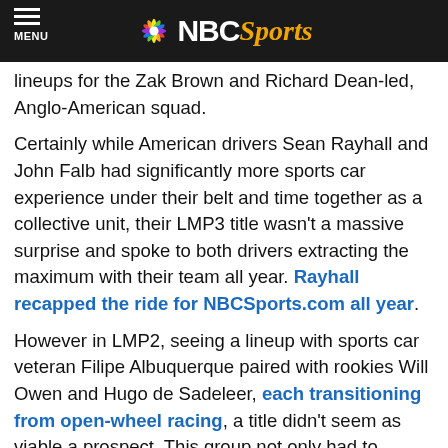NBC Sports
lineups for the Zak Brown and Richard Dean-led, Anglo-American squad.
Certainly while American drivers Sean Rayhall and John Falb had significantly more sports car experience under their belt and time together as a collective unit, their LMP3 title wasn't a massive surprise and spoke to both drivers extracting the maximum with their team all year. Rayhall recapped the ride for NBCSports.com all year.
However in LMP2, seeing a lineup with sports car veteran Filipe Albuquerque paired with rookies Will Owen and Hugo de Sadeleer, each transitioning from open-wheel racing, a title didn't seem as viable a prospect. This group not only had to overcome the experience deficit but also a pace one, with the new-for-2017 LMP2 chassis locked into a homologation and the Oreca 07 a